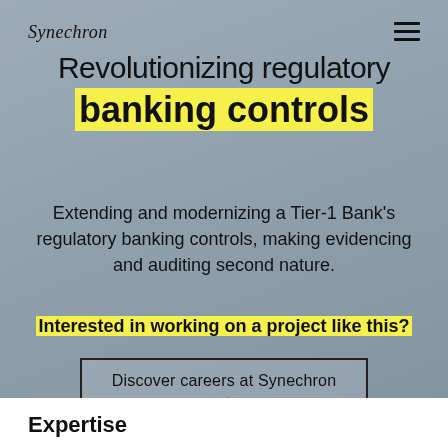Synechron
Revolutionizing regulatory banking controls
Extending and modernizing a Tier-1 Bank's regulatory banking controls, making evidencing and auditing second nature.
Interested in working on a project like this?
Discover careers at Synechron →
Expertise